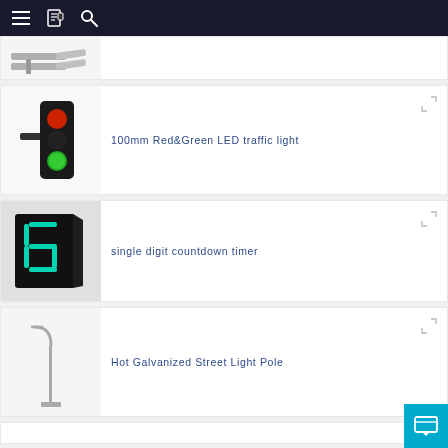Navigation bar with menu, catalog, and search icons
[Figure (photo): Partial view of a street light product image (top card, partially visible)]
[Figure (photo): 100mm Red and Green LED traffic light - black traffic signal with red and green LED circles]
100mm Red&Green LED traffic light
[Figure (photo): Single digit countdown timer - black display showing green digit 6]
single digit countdown timer
[Figure (photo): Hot Galvanized Street Light Pole - tall lamp post with curved arm on white background]
Hot Galvanized Street Light Pole